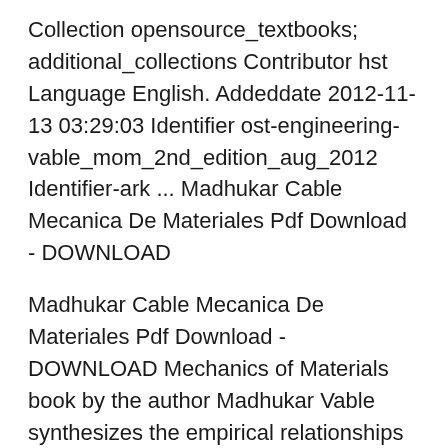Collection opensource_textbooks; additional_collections Contributor hst Language English. Addeddate 2012-11-13 03:29:03 Identifier ost-engineering-vable_mom_2nd_edition_aug_2012 Identifier-ark ... Madhukar Cable Mecanica De Materiales Pdf Download - DOWNLOAD
Madhukar Cable Mecanica De Materiales Pdf Download - DOWNLOAD Mechanics of Materials book by the author Madhukar Vable synthesizes the empirical relationships of materials into the logical and deduced framework of mechanics to produce formulas for use in the design of structures and other solid bodies. The field has seen incredible growth in the last twenty-five years. A few years ago, today's routine industry